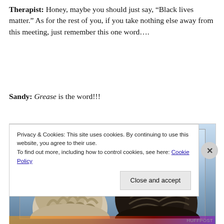Therapist: Honey, maybe you should just say, “Black lives matter.” As for the rest of you, if you take nothing else away from this meeting, just remember this one word….
Sandy: Grease is the word!!!
[Figure (photo): Grease movie poster showing the names John Travolta and Olivia Newton-John in bold black text at the top, with the tops of two figures’ heads below — a curly-haired blonde on the left and a dark slicked-back hair on the right, against a blue sky background.]
Privacy & Cookies: This site uses cookies. By continuing to use this website, you agree to their use.
To find out more, including how to control cookies, see here: Cookie Policy
Close and accept